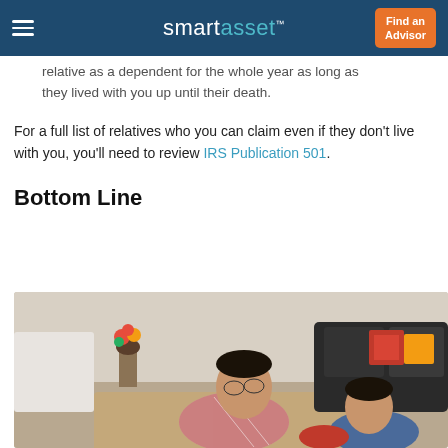smartasset™ — Find an Advisor
relative as a dependent for the whole year as long as they lived with you up until their death.
For a full list of relatives who you can claim even if they don't live with you, you'll need to review IRS Publication 501.
Bottom Line
[Figure (photo): A man in a plaid shirt wearing glasses leaning over a rug next to a child in a blue checked shirt, both appearing to look at something on the floor. A black leather couch and flowers in a vase are visible in the background.]